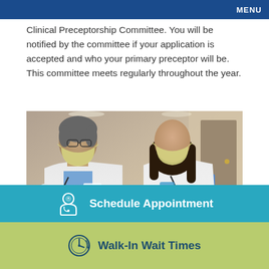MENU
Clinical Preceptorship Committee. You will be notified by the committee if your application is accepted and who your primary preceptor will be. This committee meets regularly throughout the year.
[Figure (photo): Two healthcare professionals in white lab coats and yellow face masks standing in a hospital corridor, reviewing documents on a clipboard.]
Schedule Appointment
Walk-In Wait Times